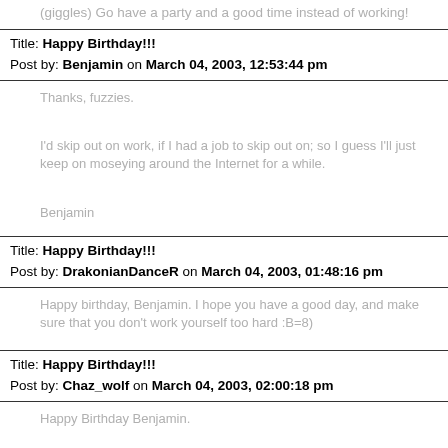(giggles) Go have a party and a good time instead of working!
Title: Happy Birthday!!!
Post by: Benjamin on March 04, 2003, 12:53:44 pm
Thanks, fuzzies.

I'd skip out on work, if I had a job to skip out on; so I guess I'll just keep on moseying around the Internet for a while.

Benjamin
Title: Happy Birthday!!!
Post by: DrakonianDanceR on March 04, 2003, 01:48:16 pm
Happy birthday, Benjamin. I hope you have a good day, and make sure that you don't work yourself too hard :B=8)
Title: Happy Birthday!!!
Post by: Chaz_wolf on March 04, 2003, 02:00:18 pm
Happy Birthday Benjamin.

Hope it goes well.
Talk soon.